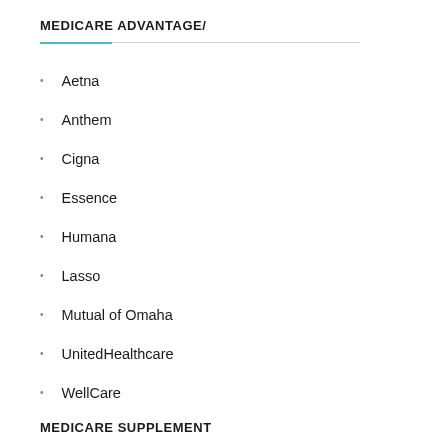MEDICARE ADVANTAGE/
Aetna
Anthem
Cigna
Essence
Humana
Lasso
Mutual of Omaha
UnitedHealthcare
WellCare
MEDICARE SUPPLEMENT